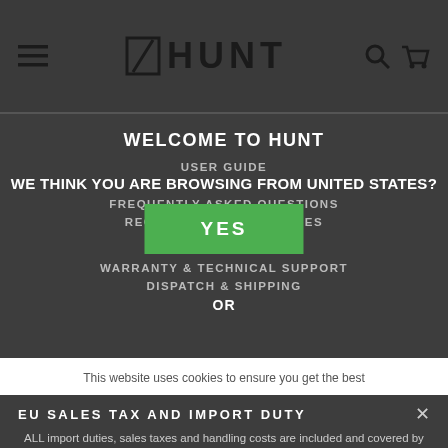HUNT — navigation header with hamburger menu, logo, search and cart icons
WELCOME TO HUNT
USER GUIDE
WE THINK YOU ARE BROWSING FROM UNITED STATES?
FREQUENTLY ASKED QUESTIONS
RECOMMENDED PRESSURES
[Figure (screenshot): Green YES button overlay]
WARRANTY & TECHNICAL SUPPORT
DISPATCH & SHIPPING
OR
This website uses cookies to ensure you get the best
EU SALES TAX AND IMPORT DUTY
ALL import duties, sales taxes and handling costs are included and covered by us when you place your order on eu.huntbikewheels.com.